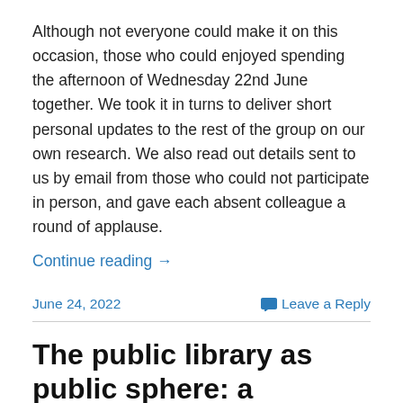Although not everyone could make it on this occasion, those who could enjoyed spending the afternoon of Wednesday 22nd June together. We took it in turns to deliver short personal updates to the rest of the group on our own research. We also read out details sent to us by email from those who could not participate in person, and gave each absent colleague a round of applause.
Continue reading →
June 24, 2022
Leave a Reply
The public library as public sphere: a longitudinal analysis – full article available as